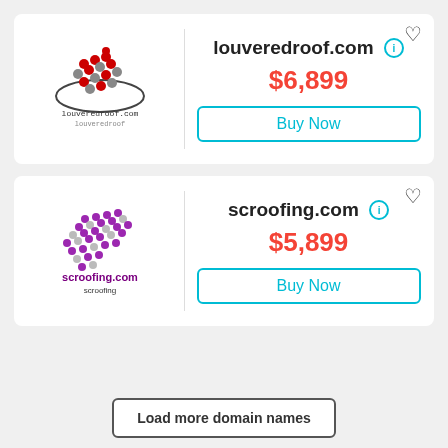[Figure (logo): louveredroof.com logo with planet/orbit and red dot grid graphic, text 'louveredroof.com' and 'louveredroof']
louveredroof.com
$6,899
Buy Now
[Figure (logo): scroofing.com logo with purple dot grid/tile graphic, text 'scroofing.com' in purple and 'scroofing' below]
scroofing.com
$5,899
Buy Now
Load more domain names